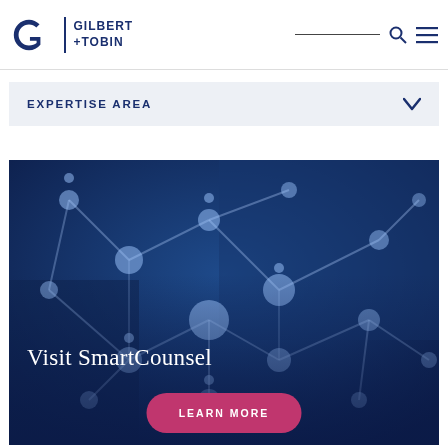Gilbert + Tobin
EXPERTISE AREA
[Figure (screenshot): Dark blue banner image showing network/molecular connection graphic overlaid on a photo background, with text 'Visit SmartCounsel' and a pink 'LEARN MORE' button]
Visit SmartCounsel
LEARN MORE